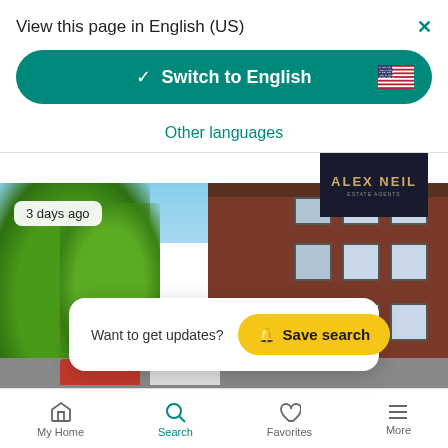View this page in English (US)
Switch to English
Other languages
[Figure (screenshot): Property listing photo showing a brick residential building with trees and parked cars, with a '3 days ago' badge overlay and a 'Want to get updates? Save search' popup, plus Alex Neil real estate agency logo in top right]
My Home | Search | Favorites | More